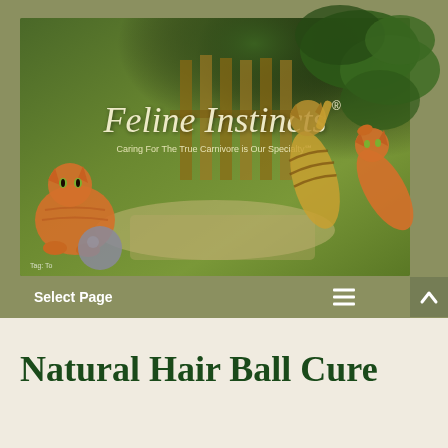[Figure (photo): Feline Instincts website banner showing two cats in a garden setting with green foliage background, brand name 'Feline Instincts' in italic script with registered trademark symbol, tagline 'Caring For The True Carnivore is Our Specialty']
Select Page
Natural Hair Ball Cure